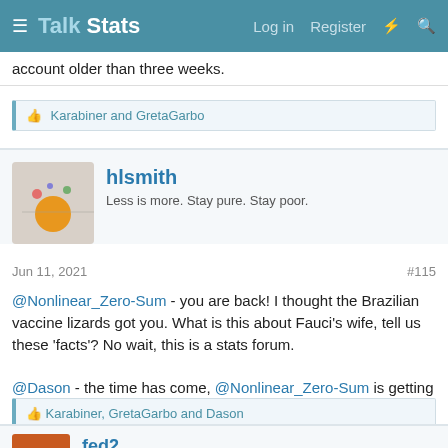Talk Stats | Log in | Register
account older than three weeks.
👍 Karabiner and GretaGarbo
hlsmith
Less is more. Stay pure. Stay poor.
Jun 11, 2021   #115
@Nonlinear_Zero-Sum - you are back! I thought the Brazilian vaccine lizards got you. What is this about Fauci's wife, tell us these 'facts'? No wait, this is a stats forum.

@Dason - the time has come, @Nonlinear_Zero-Sum is getting too close to the truth!
👍 Karabiner, GretaGarbo and Dason
fed2